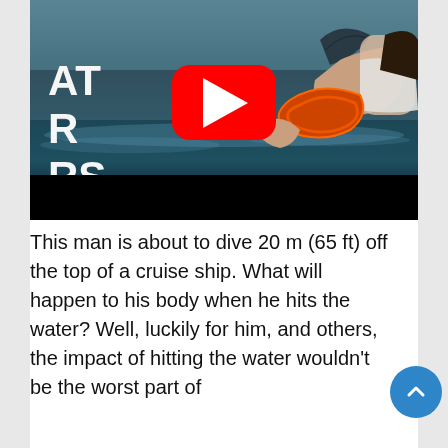[Figure (screenshot): YouTube video thumbnail showing a shark fin above dark ocean water, a woman in the water holding an orange float, with white text 'AT R RS' on the left side and a large red YouTube play button in the center. The bottom portion of the thumbnail is black.]
This man is about to dive 20 m (65 ft) off the top of a cruise ship. What will happen to his body when he hits the water? Well, luckily for him, and others, the impact of hitting the water wouldn't be the worst part of